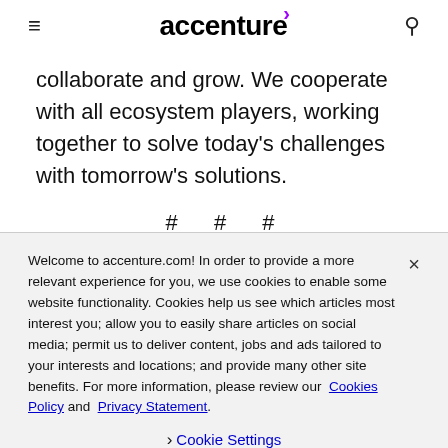accenture
collaborate and grow. We cooperate with all ecosystem players, working together to solve today's challenges with tomorrow's solutions.
# # #
Welcome to accenture.com! In order to provide a more relevant experience for you, we use cookies to enable some website functionality. Cookies help us see which articles most interest you; allow you to easily share articles on social media; permit us to deliver content, jobs and ads tailored to your interests and locations; and provide many other site benefits. For more information, please review our Cookies Policy and Privacy Statement.
Cookie Settings